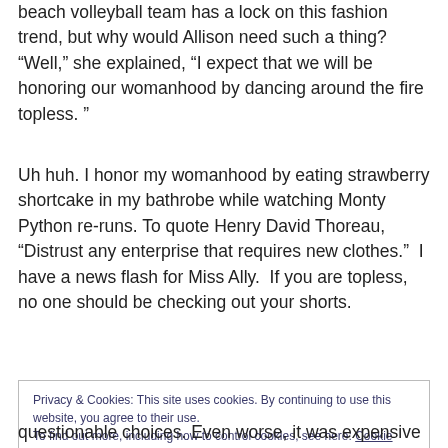beach volleyball team has a lock on this fashion trend, but why would Allison need such a thing? “Well,” she explained, “I expect that we will be honoring our womanhood by dancing around the fire topless. ”
Uh huh. I honor my womanhood by eating strawberry shortcake in my bathrobe while watching Monty Python re-runs. To quote Henry David Thoreau, “Distrust any enterprise that requires new clothes.”  I have a news flash for Miss Ally.  If you are topless, no one should be checking out your shorts.
Privacy & Cookies: This site uses cookies. By continuing to use this website, you agree to their use.
To find out more, including how to control cookies, see here: Cookie Policy
questionable choices. Even worse, it was expensive